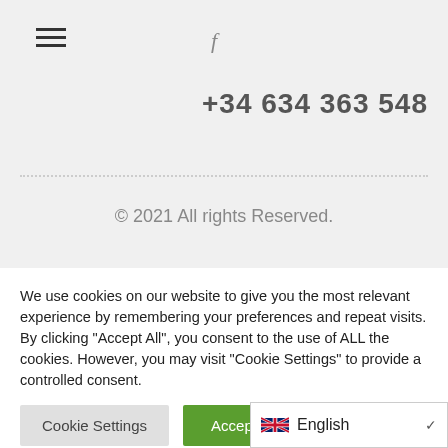[Figure (other): Hamburger menu icon (three horizontal lines)]
[Figure (other): Facebook 'f' icon in gray]
+34 634 363 548
© 2021 All rights Reserved.
We use cookies on our website to give you the most relevant experience by remembering your preferences and repeat visits. By clicking "Accept All", you consent to the use of ALL the cookies. However, you may visit "Cookie Settings" to provide a controlled consent.
Cookie Settings
Accept All
English